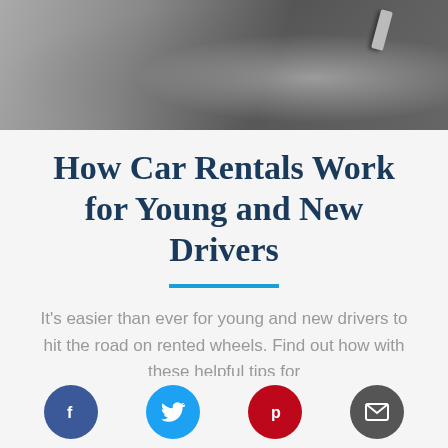[Figure (photo): Blurred close-up photo of a car key and vehicle in grayscale tones]
How Car Rentals Work for Young and New Drivers
It's easier than ever for young and new drivers to hit the road on rented wheels. Find out how with these helpful tips for
[Figure (infographic): Social media sharing icons row: Facebook, Twitter, Pinterest, Email]